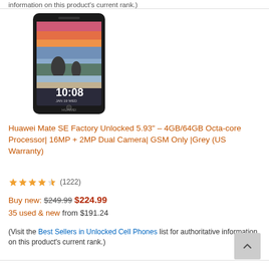information on this product's current rank.)
[Figure (photo): Huawei Mate SE smartphone showing a sunset beach wallpaper on screen, displayed in a dark grey/black frame. Screen shows time 10:08. Huawei branding visible at bottom.]
Huawei Mate SE Factory Unlocked 5.93" – 4GB/64GB Octa-core Processor| 16MP + 2MP Dual Camera| GSM Only |Grey (US Warranty)
★★★★☆ (1222)
Buy new: $249.99 $224.99
35 used & new from $191.24
(Visit the Best Sellers in Unlocked Cell Phones list for authoritative information on this product's current rank.)